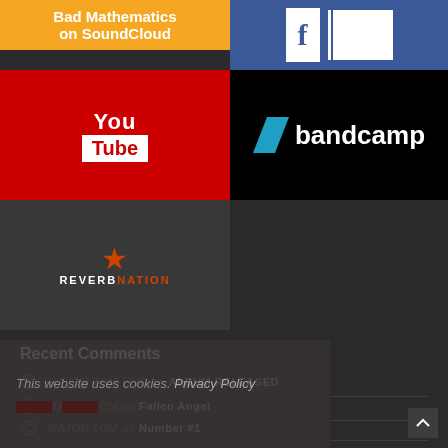[Figure (logo): Bad Mathematics on SoundCloud button - orange background]
[Figure (logo): Facebook button - blue background with F logo]
[Figure (logo): YouTube button - red background with YouTube logo]
[Figure (logo): Bandcamp button - black background with bandcamp logo]
[Figure (logo): ReverbNation button - dark gray background with star logo]
Recent Comments
MAJOR TOM LIVE on ALBUM RELEASED
MAJOR TOM on Fallen Angel
MAJOR TOM on Number #1
MAJOR TOM on The New Look Blog
michelle on overflowing with comments
This website uses cookies. Privacy Policy